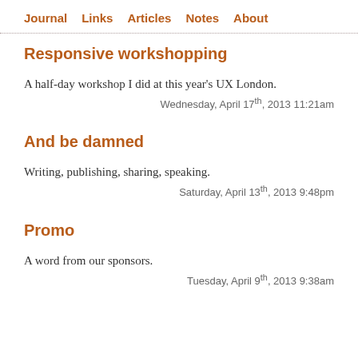Journal  Links  Articles  Notes  About
Responsive workshopping
A half-day workshop I did at this year's UX London.
Wednesday, April 17th, 2013 11:21am
And be damned
Writing, publishing, sharing, speaking.
Saturday, April 13th, 2013 9:48pm
Promo
A word from our sponsors.
Tuesday, April 9th, 2013 9:38am